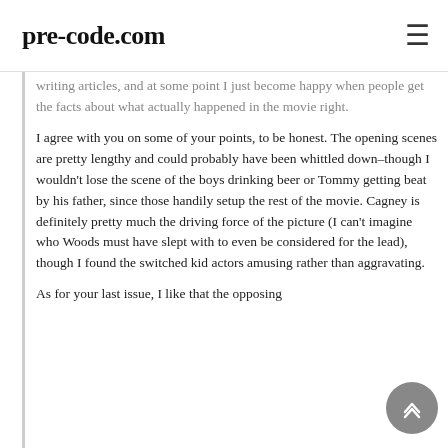pre-code.com
writing articles, and at some point I just become happy when people get the facts about what actually happened in the movie right.
I agree with you on some of your points, to be honest. The opening scenes are pretty lengthy and could probably have been whittled down–though I wouldn't lose the scene of the boys drinking beer or Tommy getting beat by his father, since those handily setup the rest of the movie. Cagney is definitely pretty much the driving force of the picture (I can't imagine who Woods must have slept with to even be considered for the lead), though I found the switched kid actors amusing rather than aggravating.
As for your last issue, I like that the opposing